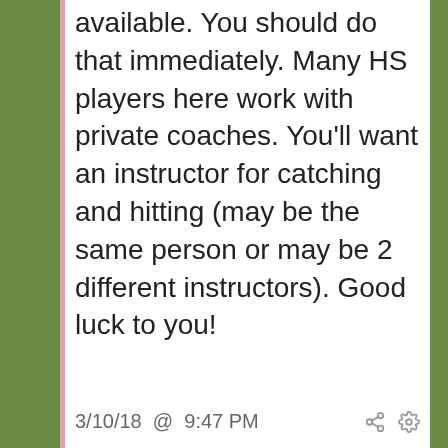available. You should do that immediately. Many HS players here work with private coaches. You'll want an instructor for catching and hitting (may be the same person or may be 2 different instructors). Good luck to you!
3/10/18 @ 9:47 PM
♥ 1
Back To Top
Add Reply
Sign In To Reply
Tags: 2019, Catching, England, College Advice, D3